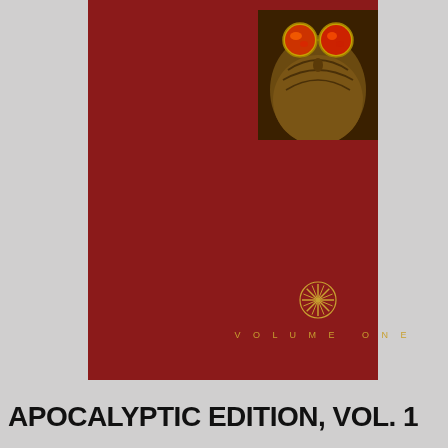[Figure (illustration): Book or album cover with dark red/maroon background. At the top center is a small image of a face with round yellow-framed glasses reflecting red/orange images, mostly obscured in shadow. In the center-lower area is a golden starburst/asterisk symbol. Below the symbol is text reading VOLUME ONE in gold/yellow spaced letters.]
APOCALYPTIC EDITION, VOL. 1